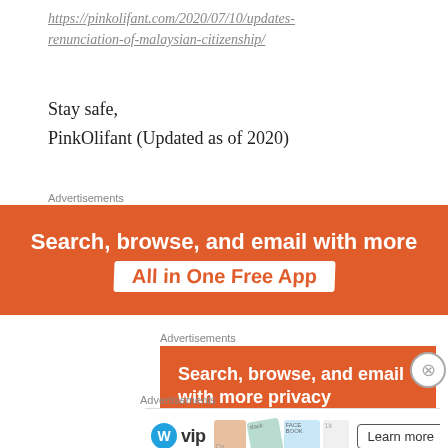https://pinkolifant.com/2020/07/10/updates-renunciation-of-malaysian-citizenship/
Stay safe,
PinkOlifant (Updated as of 2020)
Advertisements
[Figure (other): Advertisement banner: orange background with white bold text 'Search, browse, and email with more' and 'All in One Free App' on white highlight strip]
Advertisements
[Figure (other): Advertisement banner: orange background with white bold text 'Search, browse, and email with more privacy']
Advertisements
[Figure (other): WordPress VIP advertisement bar with logo, social media brand images (Slack, Facebook), and 'Learn more' button]